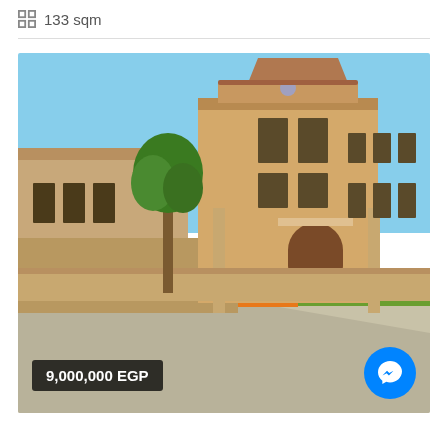133 sqm
[Figure (photo): Exterior photo of a two-story beige/sand-colored villa with arched entrance door, multiple windows, decorative columns, surrounded by a low wall, green tree in front, orange flowers in garden, clear blue sky, concrete driveway. Price overlay: 9,000,000 EGP. Messenger chat button overlay bottom right.]